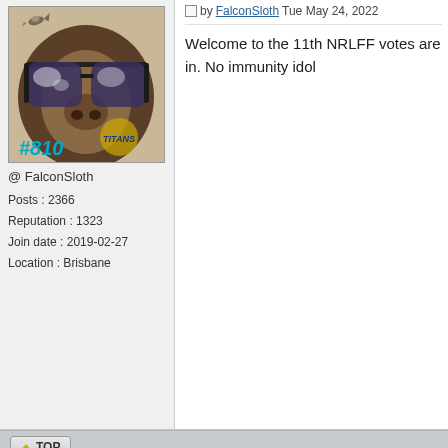[Figure (photo): Close-up photo of a sloth wearing reflective aviator sunglasses, with a small bird flying near its head. Shows a Titans logo watermark and #810 text overlay at bottom left.]
@ FalconSloth
Posts : 2366
Reputation : 1323
Join date : 2019-02-27
Location : Brisbane
by FalconSloth Tue May 24, 2022
Welcome to the 11th NRLFF votes are in. No immunity idol
↑ TOP
FalconSloth ▾
Re: NRLFF Survivor Season 2 - Pa
by FalconSloth Tue May 24, 2022
First vote: Welshy
[Figure (photo): Partial view of the same sloth with aviator sunglasses photo, cropped at bottom of page.]